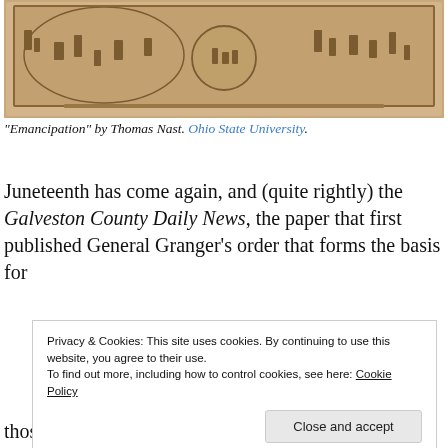[Figure (illustration): Historical engraving titled 'Emancipation' by Thomas Nast, showing multiple scenes in a panoramic composition with a large oval frame and smaller circular vignette in the center.]
“Emancipation” by Thomas Nast. Ohio State University.
Juneteenth has come again, and (quite rightly) the Galveston County Daily News, the paper that first published General Granger’s order that forms the basis for
Privacy & Cookies: This site uses cookies. By continuing to use this website, you agree to their use.
To find out more, including how to control cookies, see here: Cookie Policy
those who are lobbying for a national holiday do not